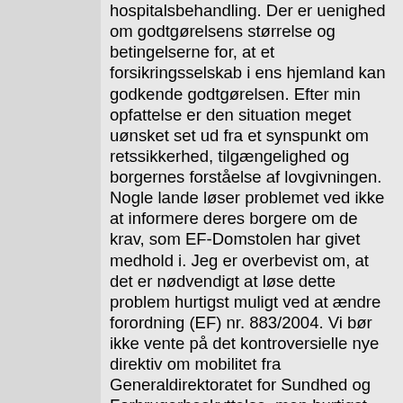hospitalsbehandling. Der er uenighed om godtgørelsens størrelse og betingelserne for, at et forsikringsselskab i ens hjemland kan godkende godtgørelsen. Efter min opfattelse er den situation meget uønsket set ud fra et synspunkt om retssikkerhed, tilgængelighed og borgernes forståelse af lovgivningen. Nogle lande løser problemet ved ikke at informere deres borgere om de krav, som EF-Domstolen har givet medhold i. Jeg er overbevist om, at det er nødvendigt at løse dette problem hurtigst muligt ved at ændre forordning (EF) nr. 883/2004. Vi bør ikke vente på det kontroversielle nye direktiv om mobilitet fra Generaldirektoratet for Sundhed og Forbrugerbeskyttelse, men hurtigst muligt sørge for, at dommene overholdes."@da² "Søhr geehrter Herr Kommissar!